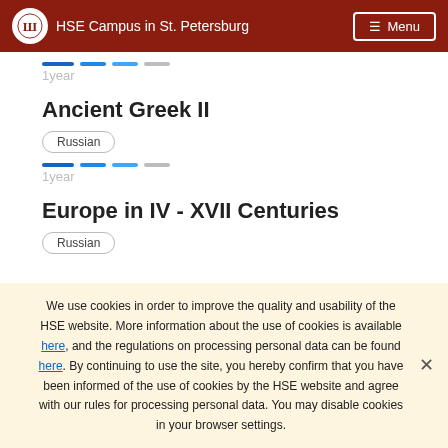HSE Campus in St. Petersburg | Menu
1year
Ancient Greek II
Russian
1year
Europe in IV - XVII Centuries
Russian
We use cookies in order to improve the quality and usability of the HSE website. More information about the use of cookies is available here, and the regulations on processing personal data can be found here. By continuing to use the site, you hereby confirm that you have been informed of the use of cookies by the HSE website and agree with our rules for processing personal data. You may disable cookies in your browser settings.